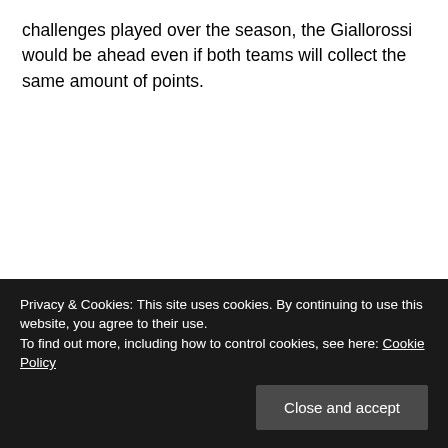challenges played over the season, the Giallorossi would be ahead even if both teams will collect the same amount of points.
Privacy & Cookies: This site uses cookies. By continuing to use this website, you agree to their use. To find out more, including how to control cookies, see here: Cookie Policy